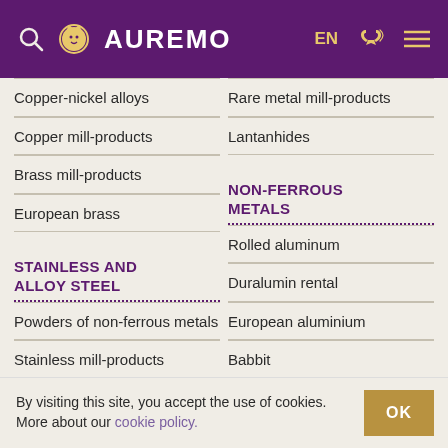AUREMO EN
Copper-nickel alloys
Copper mill-products
Brass mill-products
European brass
Rare metal mill-products
Lantanhides
STAINLESS AND ALLOY STEEL
NON-FERROUS METALS
Powders of non-ferrous metals
Stainless mill-products
Heat-resistant stainless steel
Austenitic steel
Rolled aluminum
Duralumin rental
European aluminium
Babbit
Solder
By visiting this site, you accept the use of cookies. More about our cookie policy.